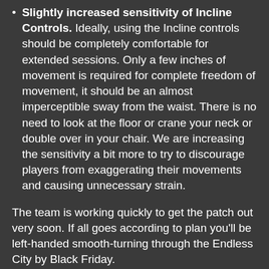Slightly increased sensitivity of Incline Controls. Ideally, using the Incline controls should be completely comfortable for extended sessions. Only a few inches of movement is required for complete freedom of movement, it should be an almost imperceptible sway from the waist. There is no need to look at the floor or crane your neck or double over in your chair. We are increasing the sensitivity a bit more to try to discourage players from exaggerating their movements and causing unnecessary strain.
The team is working quickly to get the patch out very soon. If all goes according to plan you'll be left-handed smooth-turning through the Endless City by Black Friday.